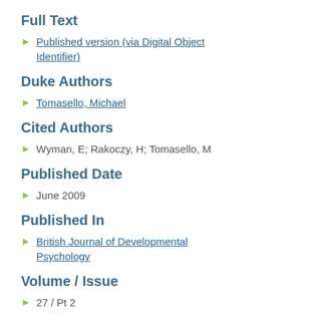Full Text
Published version (via Digital Object Identifier)
Duke Authors
Tomasello, Michael
Cited Authors
Wyman, E; Rakoczy, H; Tomasello, M
Published Date
June 2009
Published In
British Journal of Developmental Psychology
Volume / Issue
27 / Pt 2